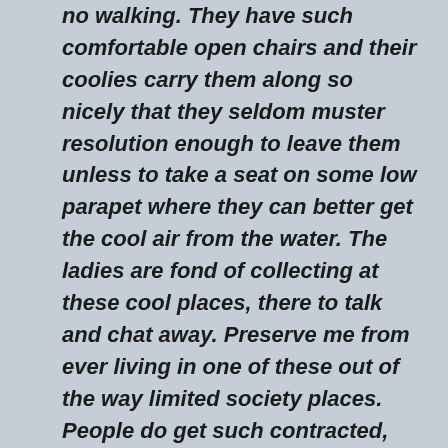no walking. They have such comfortable open chairs and their coolies carry them along so nicely that they seldom muster resolution enough to leave them unless to take a seat on some low parapet where they can better get the cool air from the water. The ladies are fond of collecting at these cool places, there to talk and chat away. Preserve me from ever living in one of these out of the way limited society places. People do get such contracted, onside ideas and notions of matters and things and